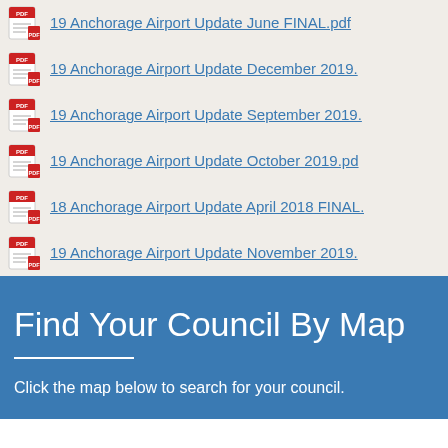19 Anchorage Airport Update June FINAL.pdf
19 Anchorage Airport Update December 2019.
19 Anchorage Airport Update September 2019.
19 Anchorage Airport Update October 2019.pd
18 Anchorage Airport Update April 2018 FINAL.
19 Anchorage Airport Update November 2019.
Find Your Council By Map
Click the map below to search for your council.